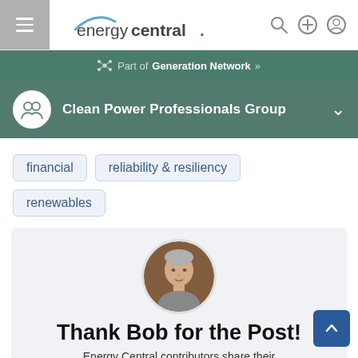energycentral. navigation bar
Part of Generation Network »
Clean Power Professionals Group
financial
reliability & resiliency
renewables
[Figure (photo): Circular profile photo of a middle-aged man with grey hair, smiling slightly, against a brown background]
Thank Bob for the Post!
Energy Central contributors share their